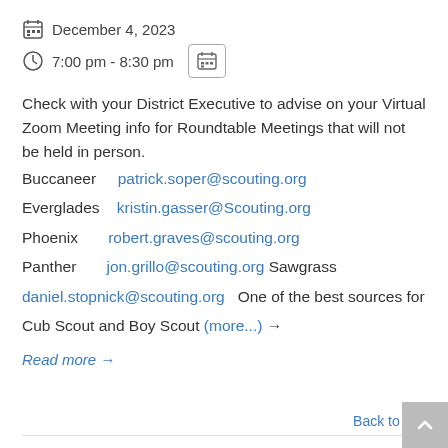December 4, 2023
7:00 pm - 8:30 pm
Check with your District Executive to advise on your Virtual Zoom Meeting info for Roundtable Meetings that will not be held in person.
Buccaneer    patrick.soper@scouting.org
Everglades    kristin.gasser@Scouting.org
Phoenix    robert.graves@scouting.org
Panther    jon.grillo@scouting.org Sawgrass daniel.stopnick@scouting.org   One of the best sources for Cub Scout and Boy Scout (more...) →
Read more →
Back to Top
Cub Family Fun Day-